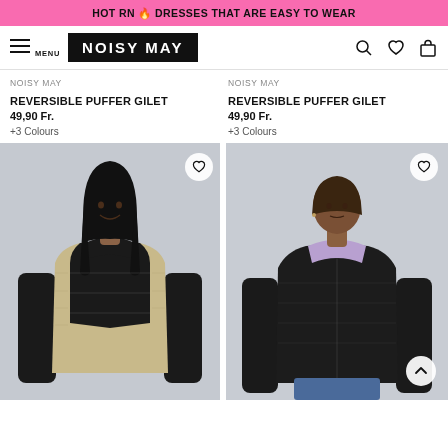HOT RN 🔥 DRESSES THAT ARE EASY TO WEAR
[Figure (screenshot): Noisy May website navigation bar with hamburger menu, logo, search, wishlist and cart icons]
NOISY MAY
REVERSIBLE PUFFER GILET
49,90 Fr.
+3 Colours
NOISY MAY
REVERSIBLE PUFFER GILET
49,90 Fr.
+3 Colours
[Figure (photo): Young woman wearing a beige and black reversible puffer gilet over a black turtleneck, smiling]
[Figure (photo): Woman wearing a black reversible puffer gilet with lavender lining visible at collar, over a black long-sleeve top and blue jeans]